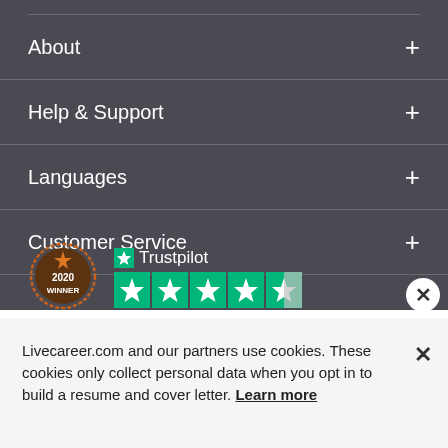About +
Help & Support +
Languages +
Customer Service +
[Figure (logo): 2020 Winner award badge (orange circular wreath with star)]
[Figure (logo): Trustpilot logo with 4.5 star rating (green stars)]
Livecareer.com and our partners use cookies. These cookies only collect personal data when you opt in to build a resume and cover letter. Learn more